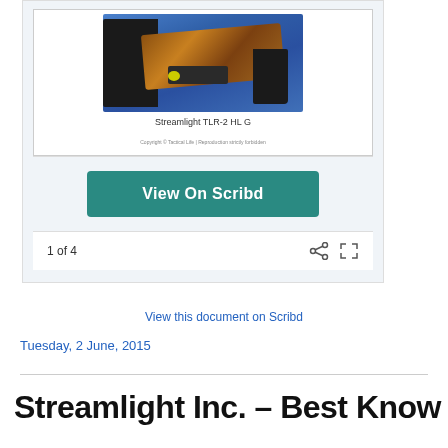[Figure (photo): Photo of a pistol (Streamlight TLR-2 HL G) mounted in a holster against a blue background, displayed within a document viewer frame on a Scribd-style page]
Streamlight TLR-2 HL G
View On Scribd
1 of 4
View this document on Scribd
Tuesday, 2 June, 2015
Streamlight Inc. – Best Know